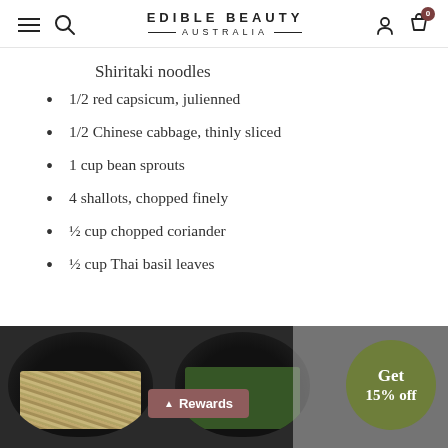EDIBLE BEAUTY AUSTRALIA
Shiritaki noodles
1/2 red capsicum, julienned
1/2 Chinese cabbage, thinly sliced
1 cup bean sprouts
4 shallots, chopped finely
½ cup chopped coriander
½ cup Thai basil leaves
[Figure (photo): Photo of food bowls containing noodles, greens, and other ingredients, with a Rewards button overlay and a green circle badge saying 'Get 15% off']